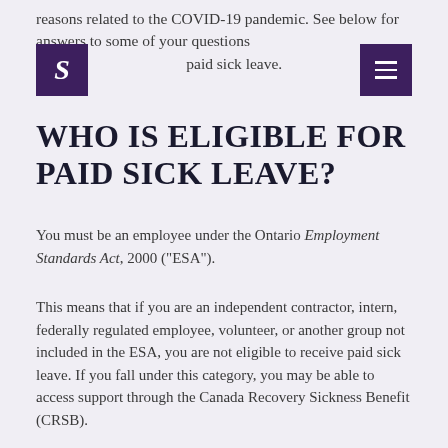reasons related to the COVID-19 pandemic. See below for answers to some of your questions about paid sick leave.
[Figure (logo): Purple square logo with white italic letter S]
[Figure (other): Purple square with three horizontal white lines (hamburger menu icon)]
WHO IS ELIGIBLE FOR PAID SICK LEAVE?
You must be an employee under the Ontario Employment Standards Act, 2000 ("ESA").
This means that if you are an independent contractor, intern, federally regulated employee, volunteer, or another group not included in the ESA, you are not eligible to receive paid sick leave. If you fall under this category, you may be able to access support through the Canada Recovery Sickness Benefit (CRSB).